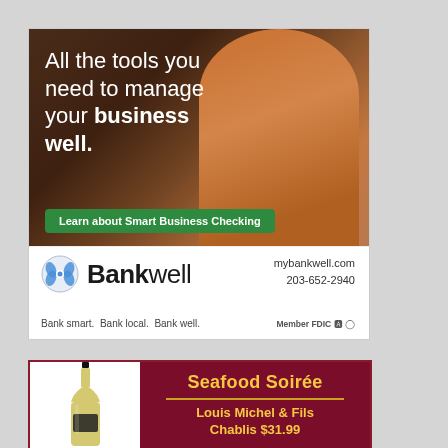[Figure (photo): Bankwell bank advertisement showing a smiling woman with text 'All the tools you need to manage your business well.' and a green button 'Learn about Smart Business Checking'. Bottom section has Bankwell logo, mybankwell.com, 203-652-2940, tagline 'Bank smart. Bank local. Bank well.' and Member FDIC.]
[Figure (photo): Wine advertisement with a white wine bottle on the left and dark maroon background on the right reading 'Seafood Soirée' and 'Louis Michel & Fils Chablis $31.99' in gold text.]